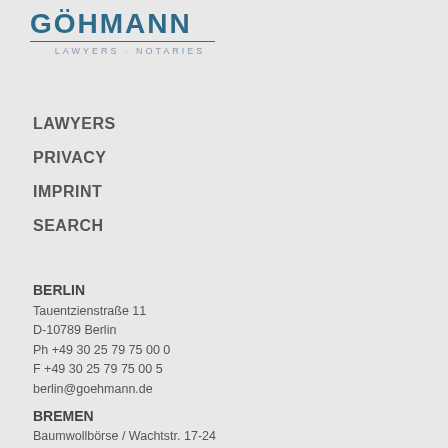[Figure (logo): Göhmann law firm logo with name in teal/blue uppercase letters, horizontal line below, and 'LAWYERS · NOTARIES' subtitle]
LAWYERS
PRIVACY
IMPRINT
SEARCH
BERLIN
Tauentzienstraße 11
D-10789 Berlin
Ph +49 30 25 79 75 00 0
F +49 30 25 79 75 00 5
berlin@goehmann.de
BREMEN
Baumwollbörse / Wachtstr. 17-24